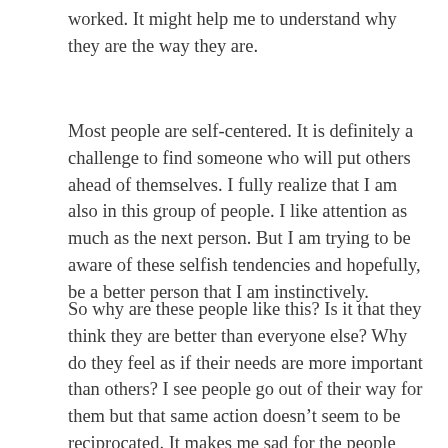worked. It might help me to understand why they are the way they are.
Most people are self-centered. It is definitely a challenge to find someone who will put others ahead of themselves. I fully realize that I am also in this group of people. I like attention as much as the next person. But I am trying to be aware of these selfish tendencies and hopefully, be a better person that I am instinctively.
So why are these people like this? Is it that they think they are better than everyone else? Why do they feel as if their needs are more important than others? I see people go out of their way for them but that same action doesn’t seem to be reciprocated. It makes me sad for the people that get taken advantage of, especially when the person getting taken advantage of is someone I love.
I’ve ended up walking away from several groups of people